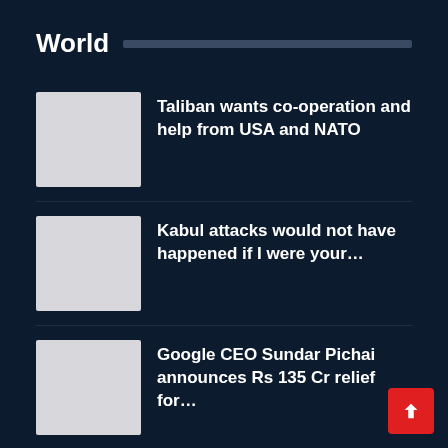World
Taliban wants co-operation and help from USA and NATO
Kabul attacks would not have happened if I were your…
Google CEO Sundar Pichai announces Rs 135 Cr relief for…
US working to deploy help to COVID-19 hit India